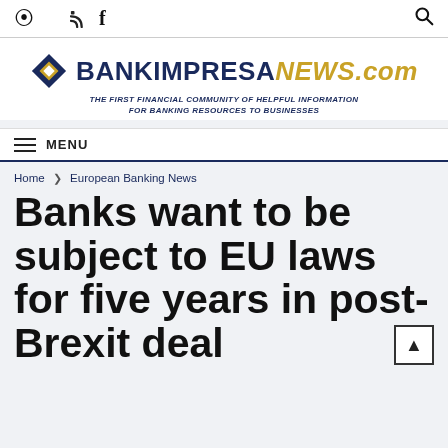RSS  Facebook  [search icon]
[Figure (logo): BankImpresaNEWS.com logo with diamond icon and tagline: THE FIRST FINANCIAL COMMUNITY OF HELPFUL INFORMATION FOR BANKING RESOURCES TO BUSINESSES]
≡ MENU
Home > European Banking News
Banks want to be subject to EU laws for five years in post-Brexit deal